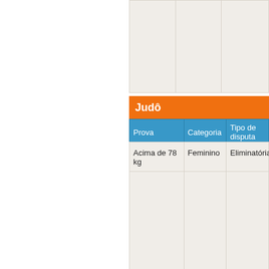| Prova | Categoria | Tipo de disputa |
| --- | --- | --- |
| Acima de 78 kg | Feminino | Eliminatórias |